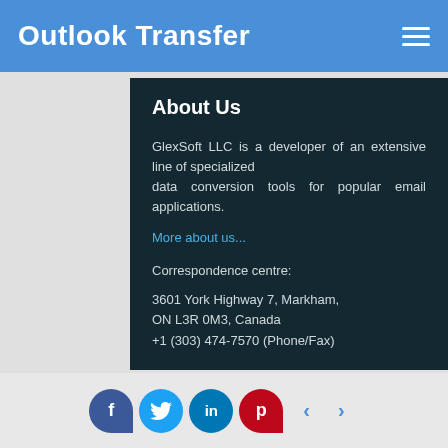Outlook Transfer
About Us
GlexSoft LLC is a developer of an extensive line of specialized data conversion tools for popular email applications.
More about us...
Correspondence centre:
3601 York Highway 7, Markham,
ON L3R 0M3, Canada
+1 (303) 474-7570 (Phone/Fax)
Sales inquiries:
+1 (888) 317-4868 (US/Canada toll free)
+1 (647) 977-7769 (International)
Social icons: Facebook, Twitter, LinkedIn, Pinterest